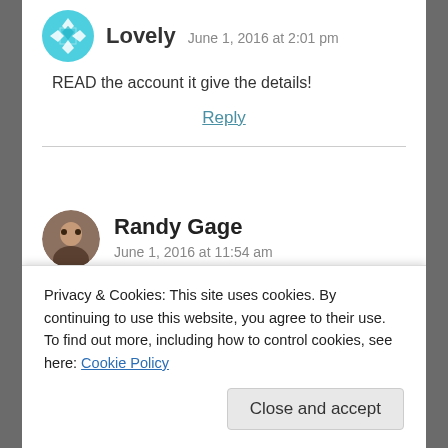Lovely — June 1, 2016 at 2:01 pm
READ the account it give the details!
Reply
Randy Gage — June 1, 2016 at 11:54 am
Yes the zoo should have .But the zoo also should have an emergency plan if something
Privacy & Cookies: This site uses cookies. By continuing to use this website, you agree to their use. To find out more, including how to control cookies, see here: Cookie Policy
Close and accept